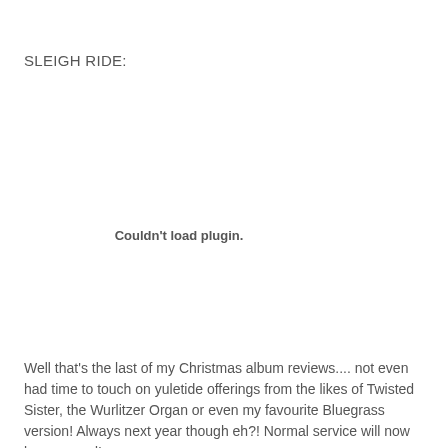SLEIGH RIDE:
[Figure (other): Couldn't load plugin. — embedded media plugin placeholder in webpage]
Well that's the last of my Christmas album reviews.... not even had time to touch on yuletide offerings from the likes of Twisted Sister, the Wurlitzer Organ or even my favourite Bluegrass version! Always next year though eh?! Normal service will now be resumed!